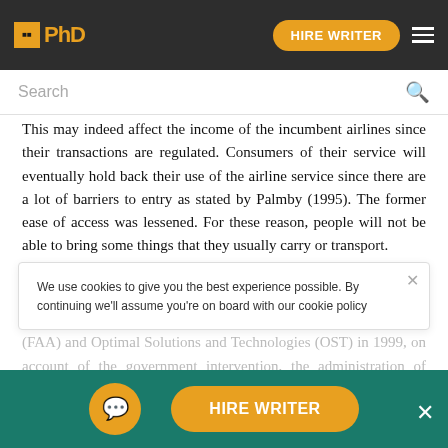IPhD | HIRE WRITER
Search
This may indeed affect the income of the incumbent airlines since their transactions are regulated. Consumers of their service will eventually hold back their use of the airline service since there are a lot of barriers to entry as stated by Palmby (1995). The former ease of access was lessened. For these reason, people will not be able to bring some things that they usually carry or transport.
Additionally, as addressed in the Federal Aviation Administration (FAA) and Optimal Solutions and Technologies (OST) in 1999, on account of the government intervention, the administration of airline
We use cookies to give you the best experience possible. By continuing we'll assume you're on board with our cookie policy
HIRE WRITER